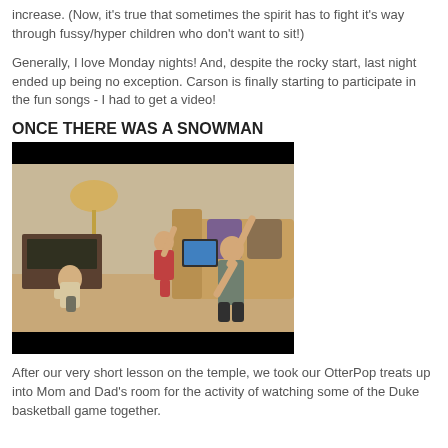increase. (Now, it's true that sometimes the spirit has to fight it's way through fussy/hyper children who don't want to sit!)
Generally, I love Monday nights! And, despite the rocky start, last night ended up being no exception. Carson is finally starting to participate in the fun songs - I had to get a video!
ONCE THERE WAS A SNOWMAN
[Figure (screenshot): Embedded video player showing a family scene indoors with children and an adult playing/dancing in a living room. There is a black bar at the top and bottom of the video, with a play button overlay in the center.]
After our very short lesson on the temple, we took our OtterPop treats up into Mom and Dad's room for the activity of watching some of the Duke basketball game together.